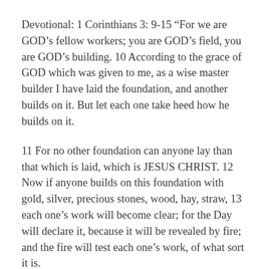Devotional: 1 Corinthians 3: 9-15 “For we are GOD’s fellow workers; you are GOD’s field, you are GOD’s building. 10 According to the grace of GOD which was given to me, as a wise master builder I have laid the foundation, and another builds on it. But let each one take heed how he builds on it.
11 For no other foundation can anyone lay than that which is laid, which is JESUS CHRIST. 12 Now if anyone builds on this foundation with gold, silver, precious stones, wood, hay, straw, 13 each one’s work will become clear; for the Day will declare it, because it will be revealed by fire; and the fire will test each one’s work, of what sort it is.
14 If anyone’s work which he has built on it endures,